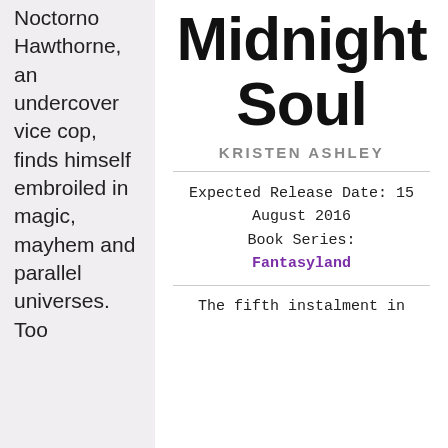Noctorno Hawthorne, an undercover vice cop, finds himself embroiled in magic, mayhem and parallel universes. Too
Midnight Soul
KRISTEN ASHLEY
Expected Release Date: 15 August 2016
Book Series:
Fantasyland
The fifth instalment in